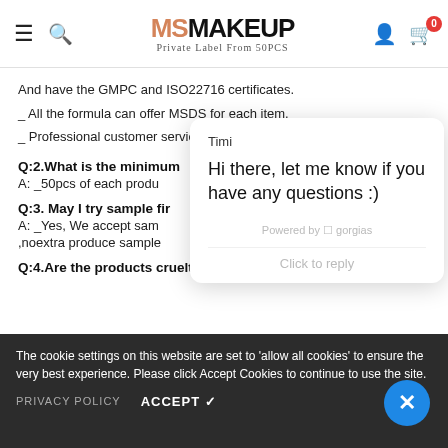[Figure (logo): MSMakeup logo with hamburger menu, search icon, user icon, and cart icon with badge 0]
And have the GMPC and ISO22716 certificates.
_ All the formula can offer MSDS for each item.
_ Professional customer service team 24 hours on-line.
Q:2.What is the minimum
A: _50pcs of each produ
Q:3. May I try sample fir
A: _Yes, We accept sam
,noextra produce sample
Q:4.Are the products cruelty free and vegan friendly?
[Figure (screenshot): Chat popup from Timi saying 'Hi there, let me know if you have any questions :)' powered by gorgias with Click to reply field]
The cookie settings on this website are set to 'allow all cookies' to ensure the very best experience. Please click Accept Cookies to continue to use the site.
PRIVACY POLICY   ACCEPT ✓